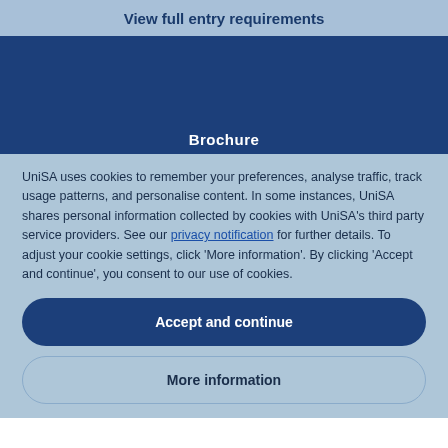View full entry requirements
[Figure (screenshot): Dark blue section with 'Brochure' label partially visible at the bottom]
UniSA uses cookies to remember your preferences, analyse traffic, track usage patterns, and personalise content. In some instances, UniSA shares personal information collected by cookies with UniSA's third party service providers. See our privacy notification for further details. To adjust your cookie settings, click 'More information'. By clicking 'Accept and continue', you consent to our use of cookies.
Accept and continue
More information